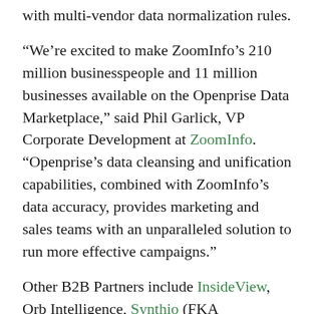with multi-vendor data normalization rules.
“We’re excited to make ZoomInfo’s 210 million businesspeople and 11 million businesses available on the Openprise Data Marketplace,” said Phil Garlick, VP Corporate Development at ZoomInfo. “Openprise’s data cleansing and unification capabilities, combined with ZoomInfo’s data accuracy, provides marketing and sales teams with an unparalleled solution to run more effective campaigns.”
Other B2B Partners include InsideView, Orb Intelligence, Synthio (FKA Social123), and Dun & Bradstreet. Additional vendors are in the final certification stages. Openprise claims that new data providers can be setup